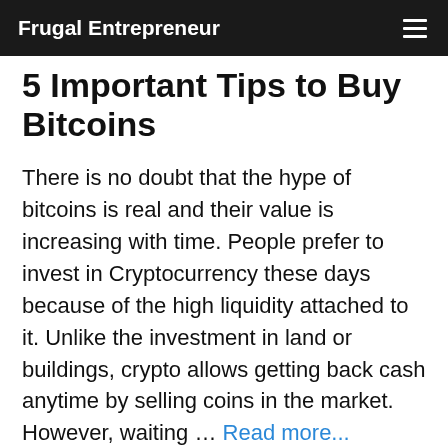Frugal Entrepreneur
5 Important Tips to Buy Bitcoins
There is no doubt that the hype of bitcoins is real and their value is increasing with time. People prefer to invest in Cryptocurrency these days because of the high liquidity attached to it. Unlike the investment in land or buildings, crypto allows getting back cash anytime by selling coins in the market.  However, waiting … Read more...